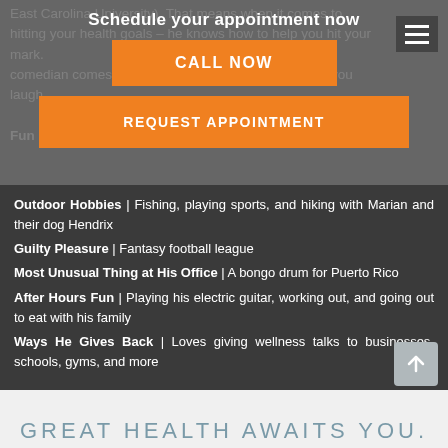East Carolina University). That means when it comes to hitting your health goals – he knows how to help you hit your mark. And if his claim to being a closet comedian comes true, there's a good chance he'll have you laughing...
Schedule your appointment now
CALL NOW
REQUEST APPOINTMENT
Fun F...
Outdoor Hobbies | Fishing, playing sports, and hiking with Marian and their dog Hendrix
Guilty Pleasure | Fantasy football league
Most Unusual Thing at His Office | A bongo drum for Puerto Rico
After Hours Fun | Playing his electric guitar, working out, and going out to eat with his family
Ways He Gives Back | Loves giving wellness talks to businesses, schools, gyms, and more
GREAT HEALTH AWAITS YOU.